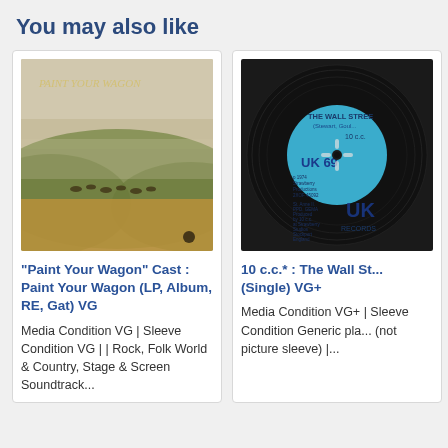You may also like
[Figure (photo): Album cover for Paint Your Wagon cast recording - misty landscape with figures on horseback]
"Paint Your Wagon" Cast : Paint Your Wagon (LP, Album, RE, Gat) VG
Media Condition VG | Sleeve Condition VG | | Rock, Folk World & Country, Stage & Screen Soundtrack...
[Figure (photo): Vinyl record showing blue UK Records label - 10 c.c. The Wall Street single, UK 69]
10 c.c.* : The Wall St... (Single) VG+
Media Condition VG+ | Sleeve Condition Generic pla... (not picture sleeve) |...